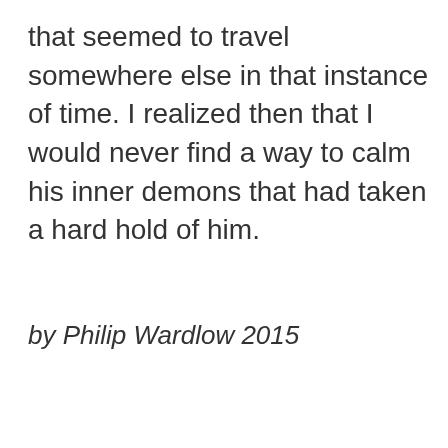that seemed to travel somewhere else in that instance of time. I realized then that I would never find a way to calm his inner demons that had taken a hard hold of him.
by Philip Wardlow 2015